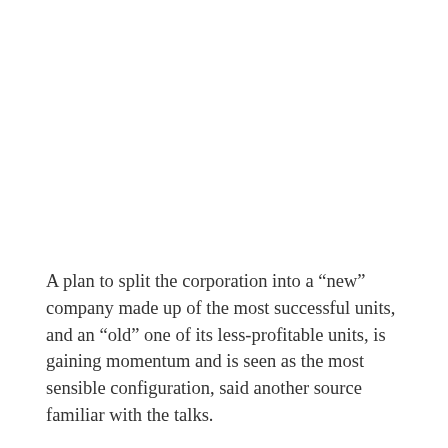A plan to split the corporation into a “new” company made up of the most successful units, and an “old” one of its less-profitable units, is gaining momentum and is seen as the most sensible configuration, said another source familiar with the talks.